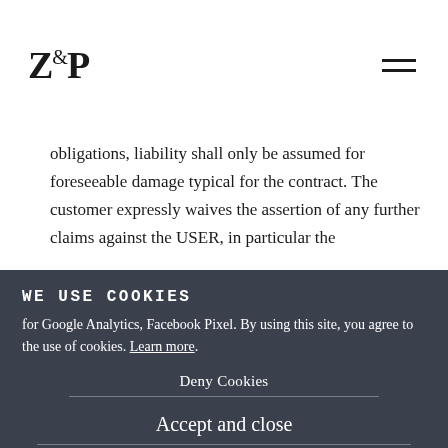Z&P
obligations, liability shall only be assumed for foreseeable damage typical for the contract. The customer expressly waives the assertion of any further claims against the USER, in particular the
WE USE COOKIES
for Google Analytics, Facebook Pixel. By using this site, you agree to the use of cookies. Learn more.
Deny Cookies
Accept and close